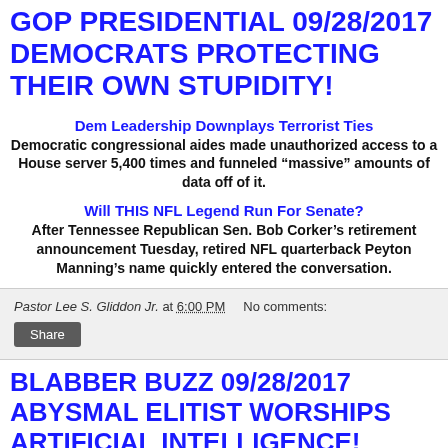GOP PRESIDENTIAL 09/28/2017 DEMOCRATS PROTECTING THEIR OWN STUPIDITY!
Dem Leadership Downplays Terrorist Ties
Democratic congressional aides made unauthorized access to a House server 5,400 times and funneled “massive” amounts of data off of it.
Will THIS NFL Legend Run For Senate?
After Tennessee Republican Sen. Bob Corker’s retirement announcement Tuesday, retired NFL quarterback Peyton Manning’s name quickly entered the conversation.
Pastor Lee S. Gliddon Jr. at 6:00 PM   No comments:
BLABBER BUZZ 09/28/2017 ABYSMAL ELITIST WORSHIPS ARTIFICIAL INTELLIGENCE!